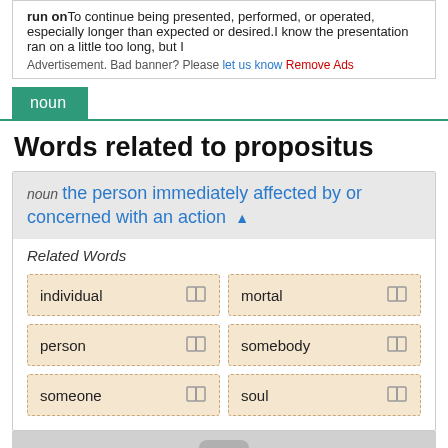run onTo continue being presented, performed, or operated, especially longer than expected or desired.I know the presentation ran on a little too long, but I
Advertisement. Bad banner? Please let us know Remove Ads
noun
Words related to propositus
noun the person immediately affected by or concerned with an action ▲
Related Words
individual
mortal
person
somebody
someone
soul